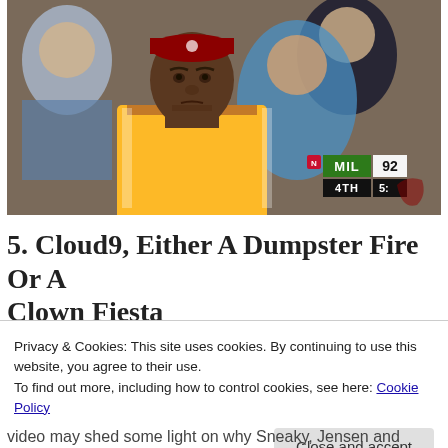[Figure (photo): NBA player wearing a gold Cavaliers jersey and red headband sitting on the bench with a serious expression. Scoreboard in bottom right shows MIL 92, 4TH 5:]
5. Cloud9, Either A Dumpster Fire Or A Clown Fiesta
Privacy & Cookies: This site uses cookies. By continuing to use this website, you agree to their use.
To find out more, including how to control cookies, see here: Cookie Policy
video may shed some light on why Sneaky, Jensen and